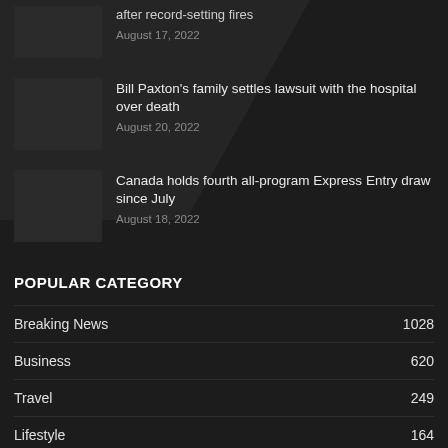after record-setting fires
August 17, 2022
Bill Paxton's family settles lawsuit with the hospital over death
August 20, 2022
Canada holds fourth all-program Express Entry draw since July
August 18, 2022
POPULAR CATEGORY
Breaking News  1028
Business  620
Travel  249
Lifestyle  164
Politics  39